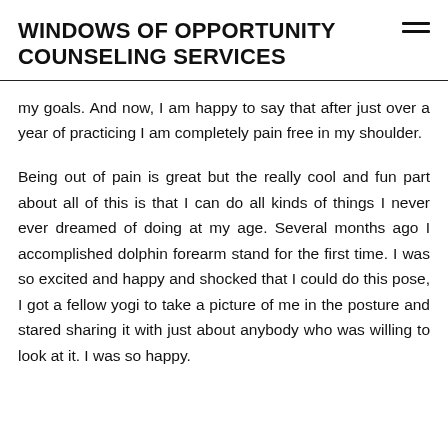WINDOWS OF OPPORTUNITY COUNSELING SERVICES
my goals. And now, I am happy to say that after just over a year of practicing I am completely pain free in my shoulder.
Being out of pain is great but the really cool and fun part about all of this is that I can do all kinds of things I never ever dreamed of doing at my age. Several months ago I accomplished dolphin forearm stand for the first time. I was so excited and happy and shocked that I could do this pose, I got a fellow yogi to take a picture of me in the posture and stared sharing it with just about anybody who was willing to look at it. I was so happy.